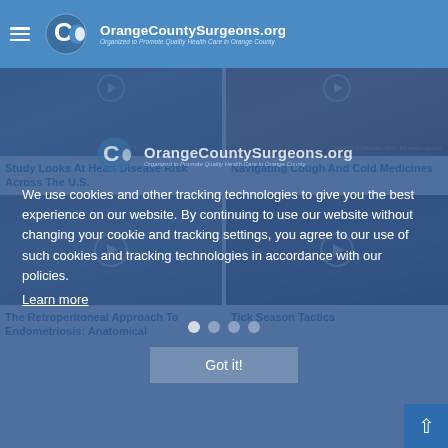OrangeCountySurgeons.org — Organized to Promote Quality Health Care in Orange County
[Figure (screenshot): Thumbnail image of doctor in white coat, video still]
[Figure (screenshot): Thumbnail image showing person with arm, Cleveland Clinic watermark, video still]
Study Looks At Heart Disease Risk Across The U.S.
Navigating Cough And Cold Medicines
[Figure (screenshot): Video still with play button, darkened background]
[Figure (screenshot): Video still with play button, darkened background]
We use cookies and other tracking technologies to give you the best experience on our website. By continuing to use our website without changing your cookie and tracking settings, you agree to our use of such cookies and tracking technologies in accordance with our policies.
Learn more
Got it!
The Retroperitoneal Approach To Endometriosis: Anatomical
Tick Season Tactics